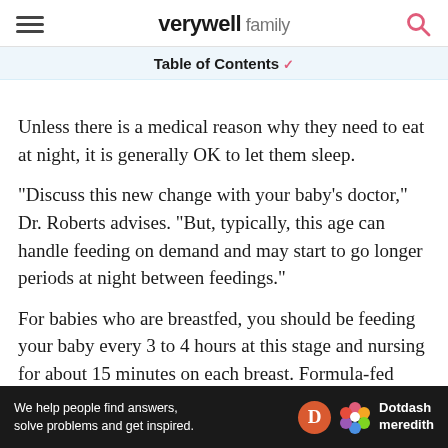verywell family
Table of Contents
Unless there is a medical reason why they need to eat at night, it is generally OK to let them sleep.
"Discuss this new change with your baby's doctor," Dr. Roberts advises. "But, typically, this age can handle feeding on demand and may start to go longer periods at night between feedings."
For babies who are breastfed, you should be feeding your baby every 3 to 4 hours at this stage and nursing for about 15 minutes on each breast. Formula-fed babies also will eat every 3 to 4 hours and may take anywhere from 4 to 8 ounces